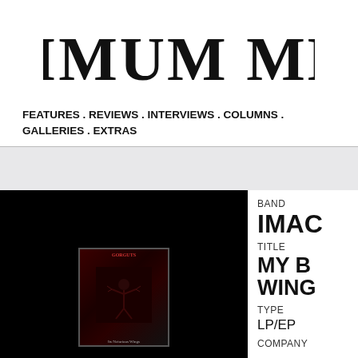[Figure (logo): Maximum Metal logo in heavy metal gothic font]
FEATURES . REVIEWS . INTERVIEWS . COLUMNS . GALLERIES . EXTRAS
[Figure (photo): Album cover image displayed on black background, small thumbnail showing dark metal artwork with band name and album title text]
BAND
IMAC
TITLE
MY B WING
TYPE
LP/EP
COMPANY